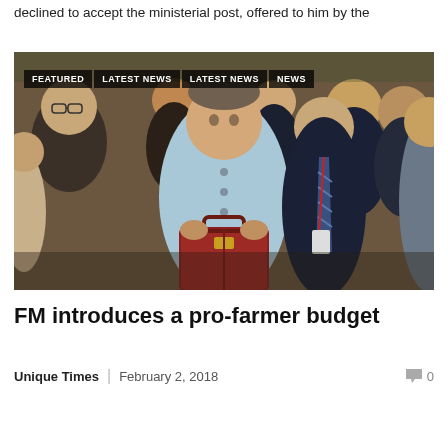declined to accept the ministerial post, offered to him by the
[Figure (photo): A man in a light blue kurta holding a red leather briefcase, surrounded by a crowd of officials and politicians. Overlaid tags read FEATURED, LATEST NEWS, LATEST NEWS, NEWS.]
FM introduces a pro-farmer budget
Unique Times | February 2, 2018   0